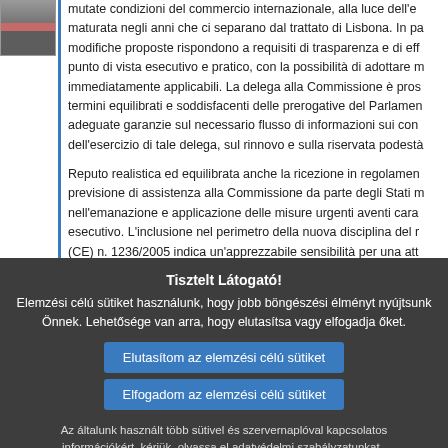[Figure (photo): Small portrait photo of a person in a suit with a red tie]
mutate condizioni del commercio internazionale, alla luce dell'e maturata negli anni che ci separano dal trattato di Lisbona. In pa modifiche proposte rispondono a requisiti di trasparenza e di eff punto di vista esecutivo e pratico, con la possibilità di adottare m immediatamente applicabili. La delega alla Commissione è pros termini equilibrati e soddisfacenti delle prerogative del Parlamen adeguate garanzie sul necessario flusso di informazioni sui con dell'esercizio di tale delega, sul rinnovo e sulla riservata podestà
Reputo realistica ed equilibrata anche la ricezione in regolamen previsione di assistenza alla Commissione da parte degli Stati m nell'emanazione e applicazione delle misure urgenti aventi cara esecutivo. L'inclusione nel perimetro della nuova disciplina del r (CE) n. 1236/2005 indica un'apprezzabile sensibilità per una att legislativa che non smarrisce, nel dettaglio delle regolamentazio l'orizzonte culturale del nostro tempo e la stella dei valori europe
Tisztelt Látogató! Elemzési célú sütiket használunk, hogy jobb böngészési élményt nyújtsunk Önnek. Lehetősége van arra, hogy elutasítsa vagy elfogadja őket.
Elutasítom az elemzési célú sütiket
Elfogadom az elemzési célú sütiket
Az általunk használt több sütivel és szervernaplóval kapcsolatos információkért, kérjük, olvassa el adatvédelmi szabályzatunkat , sütikre vonatkozó szabályzatunkat és sütijegyzékünket.